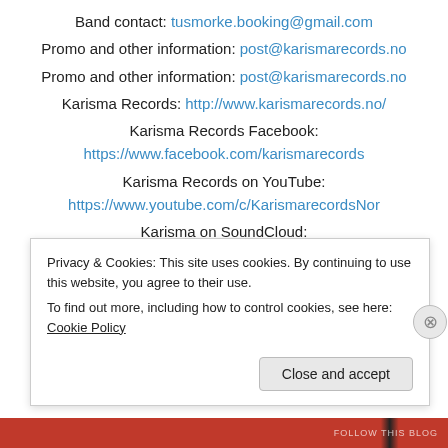Band contact: tusmorke.booking@gmail.com
Promo and other information: post@karismarecords.no
Promo and other information: post@karismarecords.no
Karisma Records: http://www.karismarecords.no/
Karisma Records Facebook:
https://www.facebook.com/karismarecords
Karisma Records on YouTube:
https://www.youtube.com/c/KarismarecordsNor
Karisma on SoundCloud:
https://soundcloud.com/karisma-records
Karisma Records on Instagram:
Privacy & Cookies: This site uses cookies. By continuing to use this website, you agree to their use.
To find out more, including how to control cookies, see here: Cookie Policy
Close and accept